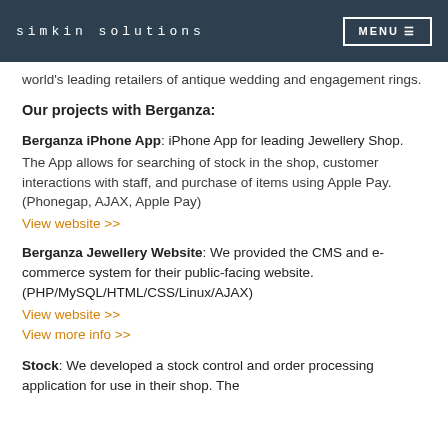simkin solutions  MENU
world's leading retailers of antique wedding and engagement rings.
Our projects with Berganza:
Berganza iPhone App: iPhone App for leading Jewellery Shop.

The App allows for searching of stock in the shop, customer interactions with staff, and purchase of items using Apple Pay. (Phonegap, AJAX, Apple Pay)
View website >>
Berganza Jewellery Website: We provided the CMS and e-commerce system for their public-facing website. (PHP/MySQL/HTML/CSS/Linux/AJAX)
View website >>
View more info >>
Stock: We developed a stock control and order processing application for use in their shop. The